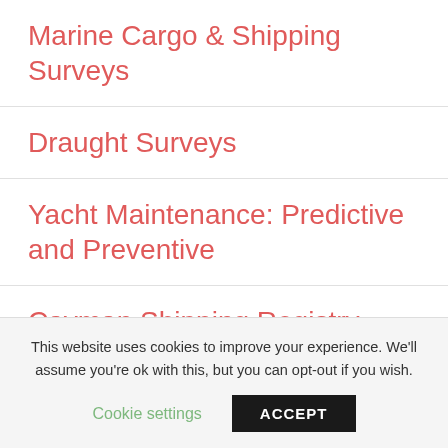Marine Cargo & Shipping Surveys
Draught Surveys
Yacht Maintenance: Predictive and Preventive
Cayman Shipping Registry – Tonnage Surveys
This website uses cookies to improve your experience. We'll assume you're ok with this, but you can opt-out if you wish.
Cookie settings
ACCEPT